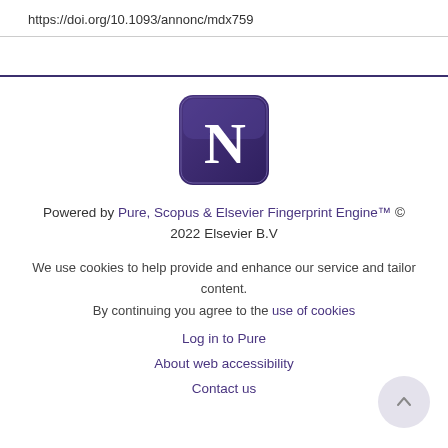https://doi.org/10.1093/annonc/mdx759
[Figure (logo): Northwestern University 'N' logo in a purple rounded square]
Powered by Pure, Scopus & Elsevier Fingerprint Engine™ © 2022 Elsevier B.V
We use cookies to help provide and enhance our service and tailor content. By continuing you agree to the use of cookies
Log in to Pure
About web accessibility
Contact us